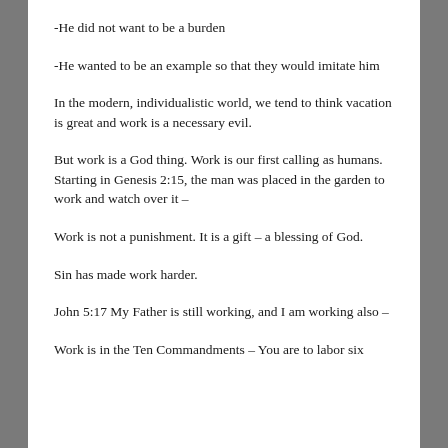-He did not want to be a burden
-He wanted to be an example so that they would imitate him
In the modern, individualistic world, we tend to think vacation is great and work is a necessary evil.
But work is a God thing. Work is our first calling as humans. Starting in Genesis 2:15, the man was placed in the garden to work and watch over it –
Work is not a punishment. It is a gift – a blessing of God.
Sin has made work harder.
John 5:17 My Father is still working, and I am working also –
Work is in the Ten Commandments – You are to labor six